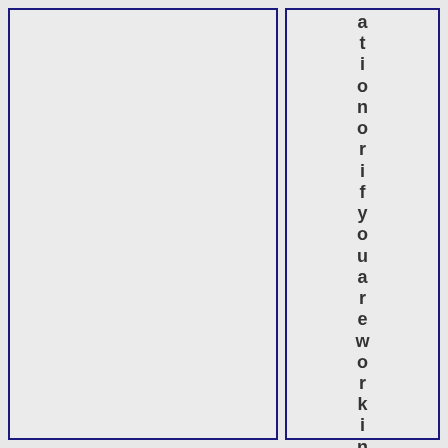ation or if you are working or stayin